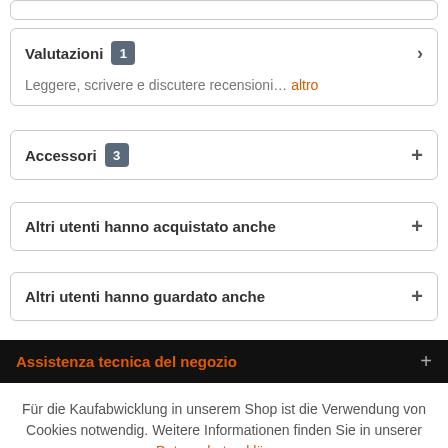Valutazioni 1
Leggere, scrivere e discutere recensioni... altro
Accessori 3
Altri utenti hanno acquistato anche
Altri utenti hanno guardato anche
Assistenza tecnica del negozio
Für die Kaufabwicklung in unserem Shop ist die Verwendung von Cookies notwendig. Weitere Informationen finden Sie in unserer Datenschutzerklärung
Akzeptieren